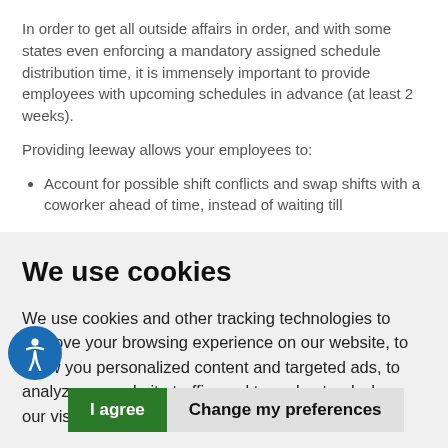In order to get all outside affairs in order, and with some states even enforcing a mandatory assigned schedule distribution time, it is immensely important to provide employees with upcoming schedules in advance (at least 2 weeks).
Providing leeway allows your employees to:
Account for possible shift conflicts and swap shifts with a coworker ahead of time, instead of waiting till
We use cookies
We use cookies and other tracking technologies to improve your browsing experience on our website, to show you personalized content and targeted ads, to analyze our website traffic, and to understand where our visitors are coming from.
I agree
Change my preferences